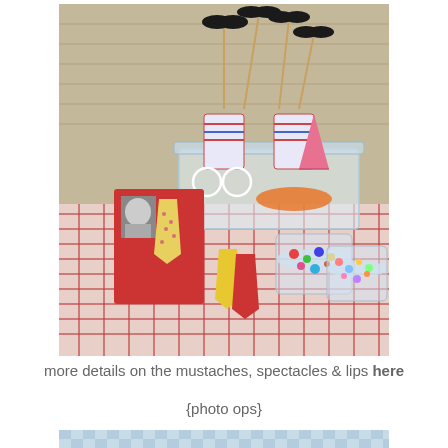[Figure (photo): A party photo booth setup on a plaid tablecloth showing a clear plastic container holding cups with mustache and spectacle props on sticks, a red card with a child's photo and tie design, paper tie cutouts in yellow and red, party hats, and small jars filled with colorful items. Brick wall background.]
more details on the mustaches, spectacles & lips here
{photo ops}
[Figure (photo): Bottom portion of another photo showing a blue and white gingham/checkered pattern background, partially visible.]